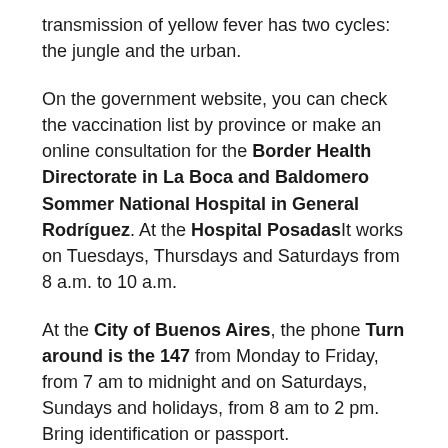transmission of yellow fever has two cycles: the jungle and the urban.
On the government website, you can check the vaccination list by province or make an online consultation for the Border Health Directorate in La Boca and Baldomero Sommer National Hospital in General Rodríguez. At the Hospital PosadasIt works on Tuesdays, Thursdays and Saturdays from 8 a.m. to 10 a.m.
At the City of Buenos Aires, the phone Turn around is the 147 from Monday to Friday, from 7 am to midnight and on Saturdays, Sundays and holidays, from 8 am to 2 pm. Bring identification or passport.